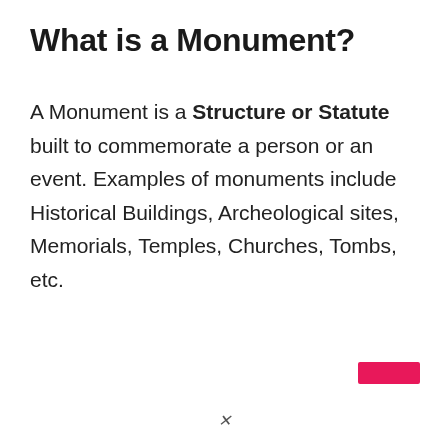What is a Monument?
A Monument is a Structure or Statute built to commemorate a person or an event. Examples of monuments include Historical Buildings, Archeological sites, Memorials, Temples, Churches, Tombs, etc.